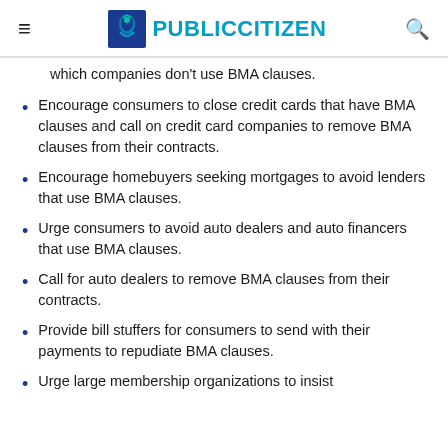PUBLIC CITIZEN
which companies don't use BMA clauses.
Encourage consumers to close credit cards that have BMA clauses and call on credit card companies to remove BMA clauses from their contracts.
Encourage homebuyers seeking mortgages to avoid lenders that use BMA clauses.
Urge consumers to avoid auto dealers and auto financers that use BMA clauses.
Call for auto dealers to remove BMA clauses from their contracts.
Provide bill stuffers for consumers to send with their payments to repudiate BMA clauses.
Urge large membership organizations to insist